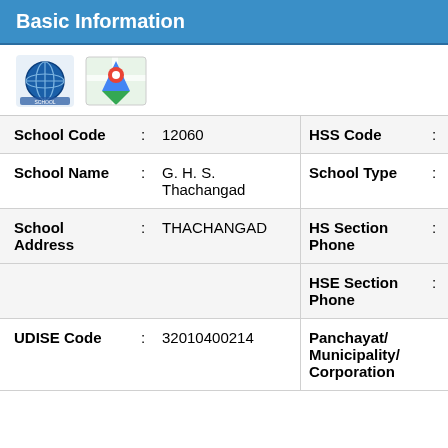Basic Information
[Figure (logo): Globe icon and Google Maps icon]
| School Code | : | 12060 | HSS Code | : |
| School Name | : | G. H. S. Thachangad | School Type | : |
| School Address | : | THACHANGAD | HS Section Phone | : |
|  |  |  | HSE Section Phone | : |
| UDISE Code | : | 32010400214 | Panchayat/ Municipality/ Corporation |  |